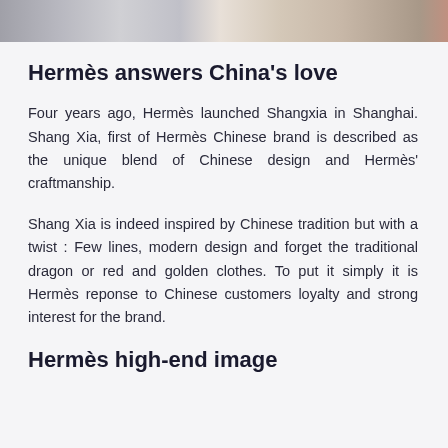[Figure (photo): Partial view of a storefront or building interior, cropped at the top of the page]
Hermès answers China's love
Four years ago, Hermès launched Shangxia in Shanghai. Shang Xia, first of Hermès Chinese brand is described as the unique blend of Chinese design and Hermès' craftmanship.
Shang Xia is indeed inspired by Chinese tradition but with a twist : Few lines, modern design and forget the traditional dragon or red and golden clothes. To put it simply it is Hermès reponse to Chinese customers loyalty and strong interest for the brand.
Hermès high-end image